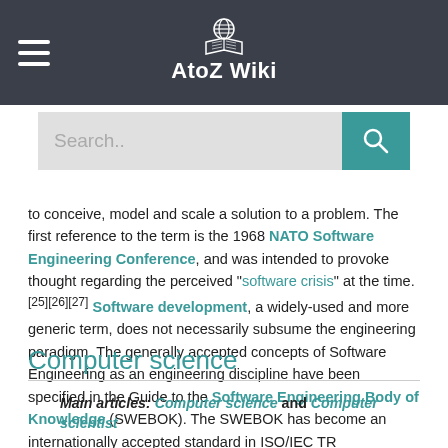AtoZ Wiki
to conceive, model and scale a solution to a problem. The first reference to the term is the 1968 NATO Software Engineering Conference, and was intended to provoke thought regarding the perceived "software crisis" at the time.[25][26][27] Software development, a widely-used and more generic term, does not necessarily subsume the engineering paradigm. The generally accepted concepts of Software Engineering as an engineering discipline have been specified in the Guide to the Software Engineering Body of Knowledge (SWEBOK). The SWEBOK has become an internationally accepted standard in ISO/IEC TR 19759:2015.[28]
Computer science
Main articles: Computer science and Computer scientist